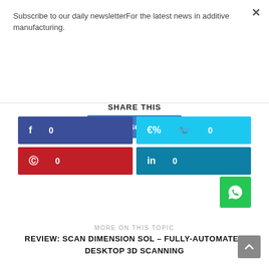Subscribe to our daily newsletterFor the latest news in additive manufacturing.
Subscribe
SHARE THIS
[Figure (infographic): Social share buttons: Facebook (0), Twitter (0), Pinterest (0), LinkedIn (0), WhatsApp]
MORE ON THIS TOPIC
REVIEW: SCAN DIMENSION SOL – FULLY-AUTOMATED DESKTOP 3D SCANNING
MORE ON THIS TOPIC